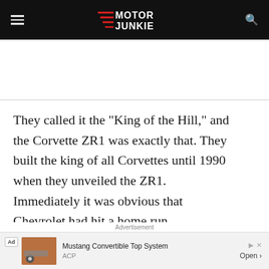Motor Junkie
[Figure (other): Advertisement placeholder area (white space with horizontal rule below)]
They called it the “King of the Hill,” and the Corvette ZR1 was exactly that. They built the king of all Corvettes until 1990 when they unveiled the ZR1. Immediately it was obvious that Chevrolet had hit a home run.
Advertisement
[Figure (other): Bottom advertisement banner: Ad badge, thumbnail image, 'Mustang Convertible Top System', ACP, Open button]